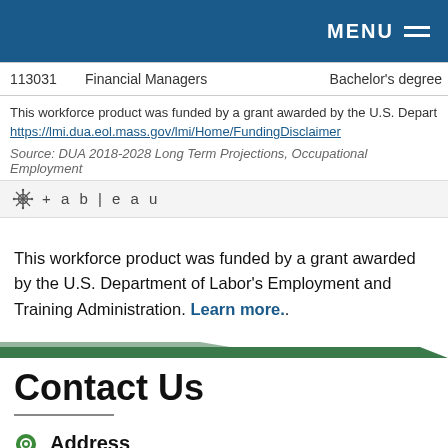MENU
| 113031 | Financial Managers | Bachelor's degree |
| --- | --- | --- |
This workforce product was funded by a grant awarded by the U.S. Depart https://lmi.dua.eol.mass.gov/lmi/Home/FundingDisclaimer
Source: DUA 2018-2028 Long Term Projections, Occupational Employment
[Figure (logo): Tableau logo with crosshair icon and +a b | e a u text]
This workforce product was funded by a grant awarded by the U.S. Department of Labor's Employment and Training Administration. Learn more..
Contact Us
Address